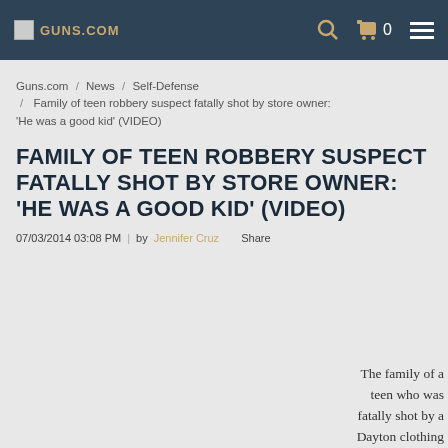Guns.com [logo] | Search | Cart 0 | Menu
Guns.com / News / Self-Defense / Family of teen robbery suspect fatally shot by store owner: 'He was a good kid' (VIDEO)
FAMILY OF TEEN ROBBERY SUSPECT FATALLY SHOT BY STORE OWNER: 'HE WAS A GOOD KID' (VIDEO)
07/03/2014 03:08 PM | by Jennifer Cruz    Share
The family of a teen who was fatally shot by a Dayton clothing